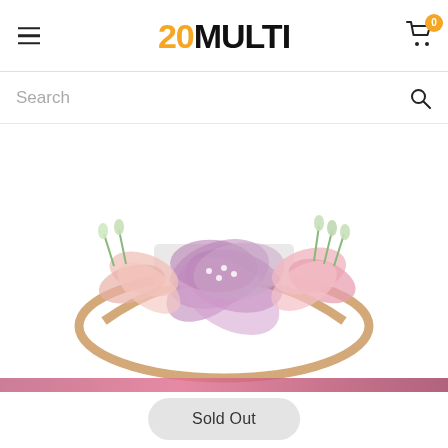20MULTI — header with hamburger menu, logo, and cart icon with badge 0
Search
[Figure (photo): A baby/infant floral headband with purple and pink flowers on a beige/nude stretchy band. The flowers include large purple petals, pink petals, and small white buds with green tips. A white rectangular fabric piece is attached at the center of the flowers.]
Sold Out